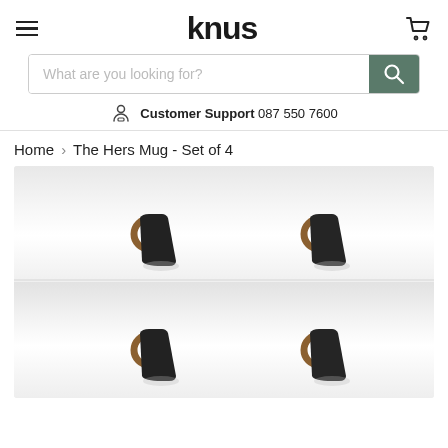knus
What are you looking for?
Customer Support 087 550 7600
Home > The Hers Mug - Set of 4
[Figure (photo): Product photo showing four black ceramic mugs with round copper/gold handles arranged in a 2x2 grid on a white/light grey reflective surface background.]